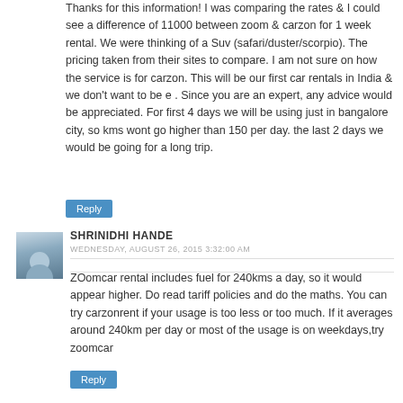Thanks for this information! I was comparing the rates & I could see a difference of 11000 between zoom & carzon for 1 week rental. We were thinking of a Suv (safari/duster/scorpio). The pricing taken from their sites to compare. I am not sure on how the service is for carzon. This will be our first car rentals in India & we don't want to be e . Since you are an expert, any advice would be appreciated. For first 4 days we will be using just in bangalore city, so kms wont go higher than 150 per day. the last 2 days we would be going for a long trip.
Reply
SHRINIDHI HANDE
WEDNESDAY, AUGUST 26, 2015 3:32:00 AM
ZOomcar rental includes fuel for 240kms a day, so it would appear higher. Do read tariff policies and do the maths. You can try carzonrent if your usage is too less or too much. If it averages around 240km per day or most of the usage is on weekdays,try zoomcar
Reply